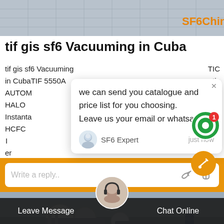[Figure (photo): Top banner with tiled roof/ceiling photo and SF6China logo in orange]
tif gis sf6 Vacuuming in Cuba
tif gis sf6 Vacuuming in CubaTIF 5550A AUTOMATIC HALOG... atic Instanta... CFC And HCFC ... Gas To Find ... I... dles... er... g
[Figure (screenshot): Chat popup overlay with message: we can send you catalogue and price list for you choosing. Leave us your email or whatsapp. From SF6 Expert, just now. With close X button and user avatar.]
[Figure (other): Green circular chat notification bubble with number 1 badge]
[Figure (screenshot): Reply bar with white input field showing Write a reply.. placeholder, thumbs up and paperclip icons, on orange background]
[Figure (photo): Bottom industrial equipment photo with machinery and workers]
[Figure (other): Bottom navigation bar with Leave Message and Chat Online buttons, customer service avatar in center, orange tool button bottom right]